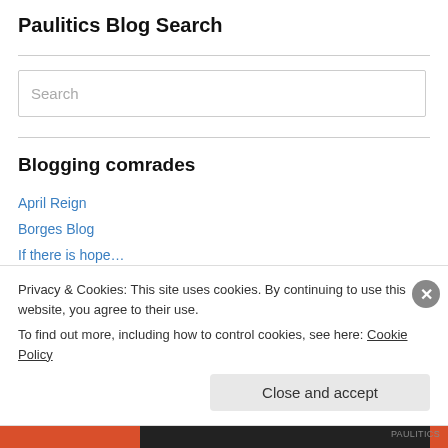Paulitics Blog Search
[Figure (screenshot): Search input field with placeholder text 'Search']
Blogging comrades
April Reign
Borges Blog
If there is hope…
Lenin's Tomb
Privacy & Cookies: This site uses cookies. By continuing to use this website, you agree to their use.
To find out more, including how to control cookies, see here: Cookie Policy
Close and accept